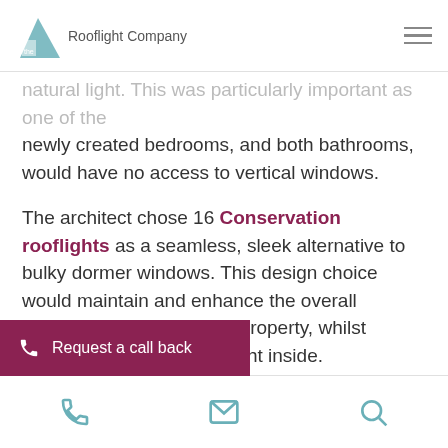the Rooflight Company
natural light. This was particularly important as one of the newly created bedrooms, and both bathrooms, would have no access to vertical windows.
The architect chose 16 Conservation rooflights as a seamless, sleek alternative to bulky dormer windows. This design choice would maintain and enhance the overall heritage aesthetics of the property, whilst inviting the all-important light inside.
This modern take on the original Victorian rooflight meets all the requirements of an article 4 direction, making this a natural fit for projects in areas of outstanding natural beauty providing assured approval from the local Conservation Officer. On the exterior, the design seamlessly and inside the plasterboard can be
Request a call back | phone | email | search